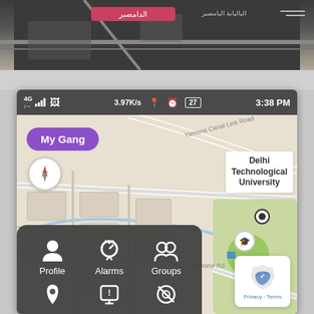[Figure (screenshot): Mobile app screenshot showing a map application with 'My Gang' button, status bar showing 3.97K/s, 3:38 PM, and a bottom navigation drawer with Profile, Alarms, Groups icons. Map shows Delhi Technological University area. Background shows a blurred map strip. A reCAPTCHA privacy badge visible in corner.]